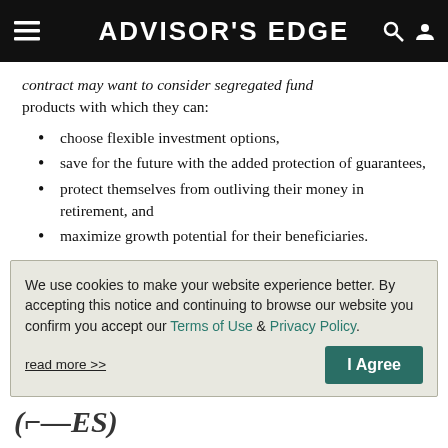ADVISOR'S EDGE
contract may want to consider segregated fund products with which they can:
choose flexible investment options,
save for the future with the added protection of guarantees,
protect themselves from outliving their money in retirement, and
maximize growth potential for their beneficiaries.
We use cookies to make your website experience better. By accepting this notice and continuing to browse our website you confirm you accept our Terms of Use & Privacy Policy.
read more >>
I Agree